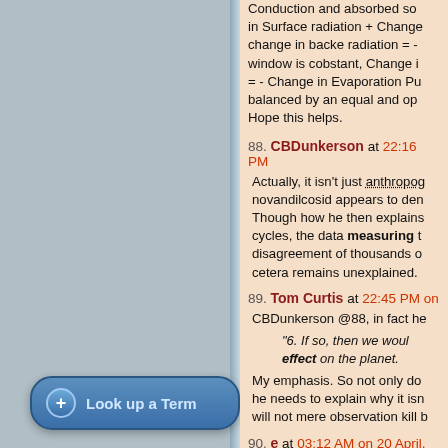Conduction and absorbed solar in Surface radiation + Change in change in backe radiation = - window is cobstant, Change i = - Change in Evaporation Pu balanced by an equal and op Hope this helps.
88. CBDunkerson at 22:16 PM — Actually, it isn't just anthropoc novandilcosid appears to den Though how he then explains cycles, the data measuring t disagreement of thousands o cetera remains unexplained.
89. Tom Curtis at 22:45 PM on — CBDunkerson @88, in fact he "6. If so, then we woul effect on the planet. My emphasis. So not only do he needs to explain why it isn will not mere observation kill b
90. e at 03:12 AM on 20 April, 20 — novan >Surface Heat Absorb portion sopping through the
Look up a Term